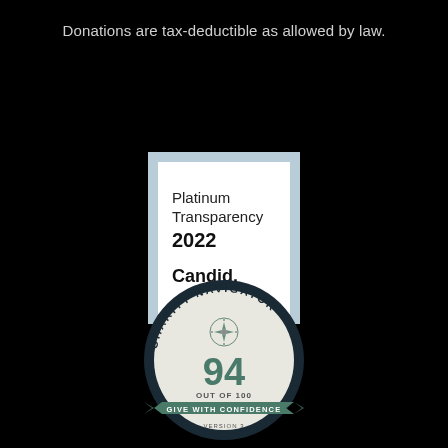Donations are tax-deductible as allowed by law.
[Figure (logo): Candid Platinum Transparency 2022 badge — white square with light blue border showing 'Platinum Transparency 2022' and 'Candid.' text]
[Figure (logo): Charity Navigator badge showing score 94 out of 100 with 'Give With Confidence' ribbon and compass rose, Version 3]